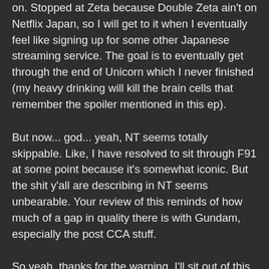on. Stopped at Zeta because Double Zeta ain't on Netflix Japan, so I will get to it when I eventually feel like signing up for some other Japanese streaming service. The goal is to eventually get through the end of Unicorn which I never finished (my heavy drinking will kill the brain cells that remember the spoiler mentioned in this ep).
But now... god... yeah, NT seems totally skippable. Like, I have resolved to sit through F91 at some point because it's somewhat iconic. But the shit y'all are describing in NT seems unbearable. Your review of this reminds of how much of a gap in quality there is with Gundam, especially the post CCA stuff.
So yeah, thanks for the warning. I'll sit out of this one.